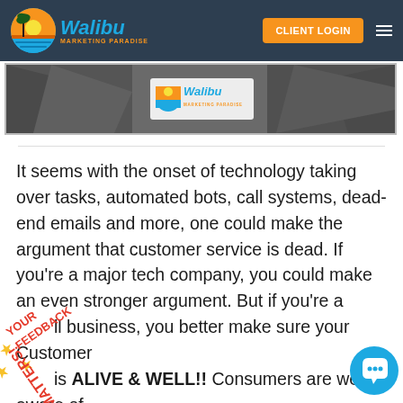Walibu Marketing Paradise — CLIENT LOGIN
[Figure (photo): Banner image showing rocky landscape with Walibu Marketing Paradise logo centered on a white background overlay]
It seems with the onset of technology taking over tasks, automated bots, call systems, dead-end emails and more, one could make the argument that customer service is dead. If you're a major tech company, you could make an even stronger argument. But if you're a small business, you better make sure your Customer service is ALIVE & WELL!! Consumers are well aware of the breakdown of customer service and those that not only meet expectations, but
[Figure (illustration): Your Feedback Matters badge with gold stars, diagonal red and orange text on white background]
[Figure (illustration): Blue chat bubble support button in bottom right corner]